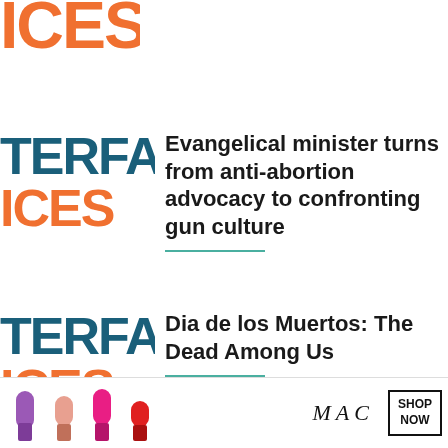[Figure (logo): Partial logo showing 'ICES' in orange at the top of the page]
Evangelical minister turns from anti-abortion advocacy to confronting gun culture
[Figure (logo): Partial logo showing 'TERFA' in teal and 'ICES' in orange]
Dia de los Muertos: The Dead Among Us
[Figure (logo): Partial logo showing 'TERFA' in teal and 'ICES' in orange]
Trans in the Eyes of God: Part 3
[Figure (logo): Partial logo showing 'REA' in teal]
[Figure (photo): MAC cosmetics advertisement banner with colorful lipsticks and SHOP NOW button]